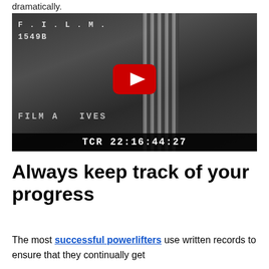dramatically.
[Figure (screenshot): Black and white film archive video thumbnail showing two men, with YouTube play button overlay. Text overlays: F.I.L.M. 1549B, FILM ARCHIVES, TCR 22:16:44:27]
Always keep track of your progress
The most successful powerlifters use written records to ensure that they continually get